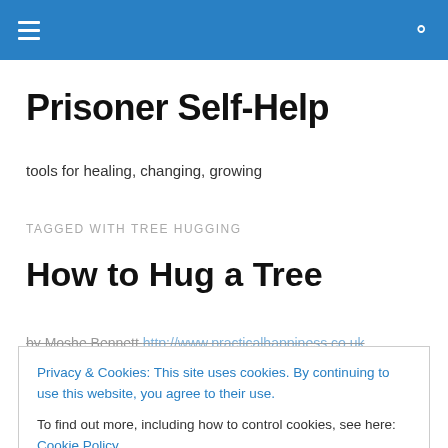Prisoner Self-Help [navigation bar with hamburger menu and search icon]
Prisoner Self-Help
tools for healing, changing, growing
TAGGED WITH TREE HUGGING
How to Hug a Tree
by Moshe Bennett http://www.practicalhappiness.co.uk
Privacy & Cookies: This site uses cookies. By continuing to use this website, you agree to their use. To find out more, including how to control cookies, see here: Cookie Policy
profound and healing experiences